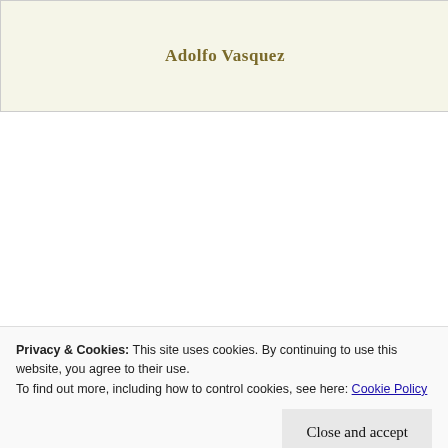[Figure (illustration): Book cover header area with textured cream/light yellow background showing author name 'Adolfo Vasquez' in gold/brown serif bold font centered on the image.]
This one is about rewriting a new life away from past haze
Privacy & Cookies: This site uses cookies. By continuing to use this website, you agree to their use.
To find out more, including how to control cookies, see here: Cookie Policy
Close and accept
[Figure (photo): Bottom strip showing book title 'Plastered Disgrace' in italic bold font on a dark brown/gold background — partial book cover image.]